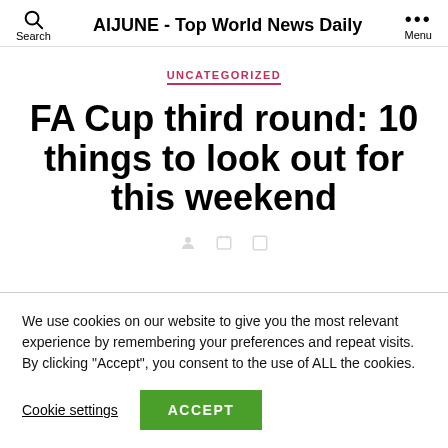AIJUNE - Top World News Daily
UNCATEGORIZED
FA Cup third round: 10 things to look out for this weekend
We use cookies on our website to give you the most relevant experience by remembering your preferences and repeat visits. By clicking “Accept”, you consent to the use of ALL the cookies.
Cookie settings  ACCEPT